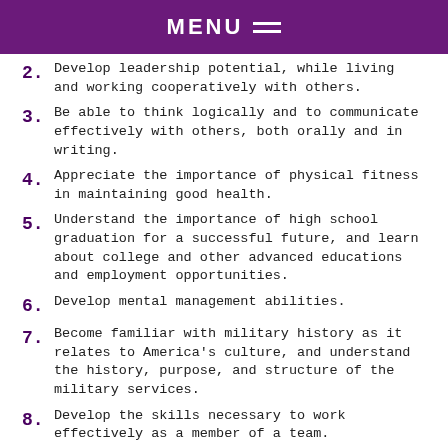MENU
2. Develop leadership potential, while living and working cooperatively with others.
3. Be able to think logically and to communicate effectively with others, both orally and in writing.
4. Appreciate the importance of physical fitness in maintaining good health.
5. Understand the importance of high school graduation for a successful future, and learn about college and other advanced educations and employment opportunities.
6. Develop mental management abilities.
7. Become familiar with military history as it relates to America's culture, and understand the history, purpose, and structure of the military services.
8. Develop the skills necessary to work effectively as a member of a team.